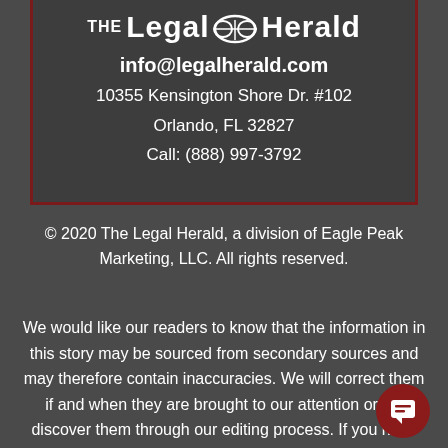[Figure (logo): The Legal Herald logo with glasses icon]
info@legalherald.com
10355 Kensington Shore Dr. #102
Orlando, FL 32827
Call: (888) 997-3792
© 2020 The Legal Herald, a division of Eagle Peak Marketing, LLC. All rights reserved.
We would like our readers to know that the information in this story may be sourced from secondary sources and may therefore contain inaccuracies. We will correct them if and when they are brought to our attention or we discover them through our editing process. If you have